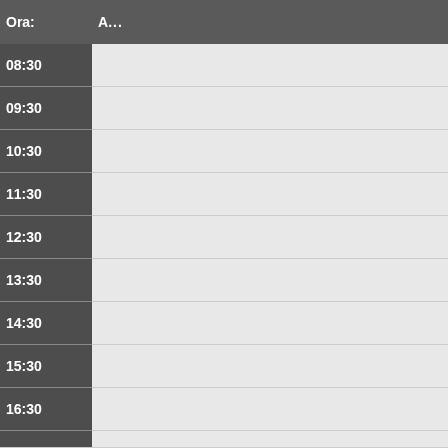| Ora: | A... |
| --- | --- |
| 08:30 |  |
| 09:30 |  |
| 10:30 |  |
| 11:30 |  |
| 12:30 |  |
| 13:30 |  |
| 14:30 |  |
| 15:30 |  |
| 16:30 |  |
| 17:30 |  |
| 18:30 |  |
| Seminario | Chiuso | Convegno | Lezioni | Vacanza |
| Riunione | Esami | Master | CEL | Esterno |
Vedi Giorno: 20 Sep | 21 Sep | 22 Sep | 23 Sep | 24 Sep | 25 Sep | 26 S...
Vedi Settimana: 29 Aug | 05 Sep | 12 Sep | 19 Sep | 26 Sep | 03 Oct | ...
Vedi Mese: Jul 2022 | Aug 2022 | Sep 2022 | Oct 2022 | Nov 2022 | De...
An...